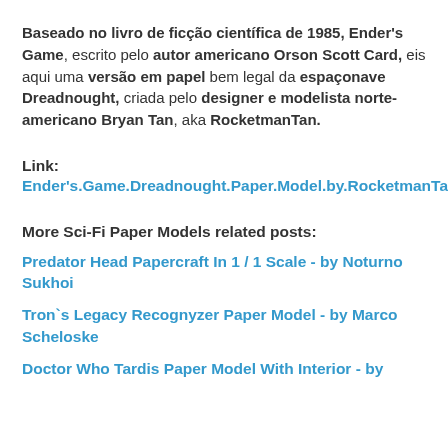Baseado no livro de ficção científica de 1985, Ender's Game, escrito pelo autor americano Orson Scott Card, eis aqui uma versão em papel bem legal da espaçonave Dreadnought, criada pelo designer e modelista norte-americano Bryan Tan, aka RocketmanTan.
Link: Ender's.Game.Dreadnought.Paper.Model.by.RocketmanTan
More Sci-Fi Paper Models related posts:
Predator Head Papercraft In 1 / 1 Scale - by Noturno Sukhoi
Tron`s Legacy Recognyzer Paper Model - by Marco Scheloske
Doctor Who Tardis Paper Model With Interior - by